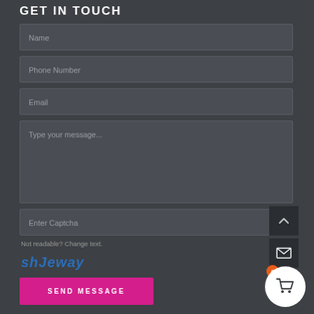GET IN TOUCH
Name
Phone Number
Email
Type your message...
Enter Captcha
Not readable? Change text.
[Figure (screenshot): CAPTCHA image showing stylized text 'shJeway' in blue italic font]
SEND MESSAGE